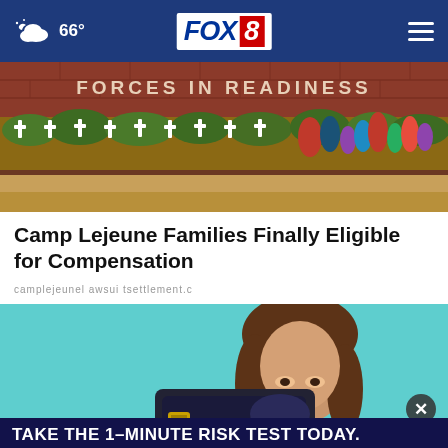66° FOX 8
[Figure (photo): Memorial at Camp Lejeune — brick wall reading FORCES IN READINESS with white crosses and colorful flowers in front]
Camp Lejeune Families Finally Eligible for Compensation
camplejeunel awsui tsettlement.c
[Figure (photo): Advertisement photo: woman holding a dark credit card in front of her face against teal background, with overlay ad for DoIHavePrediabetes.org — TAKE THE 1-MINUTE RISK TEST TODAY.]